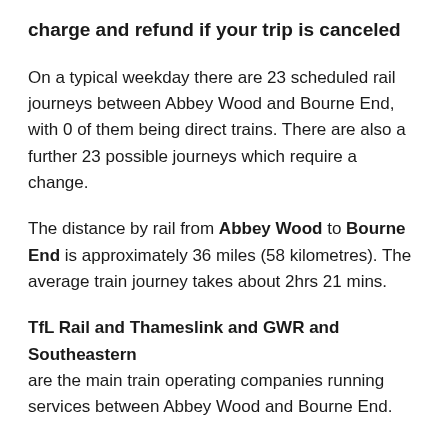charge and refund if your trip is canceled
On a typical weekday there are 23 scheduled rail journeys between Abbey Wood and Bourne End, with 0 of them being direct trains. There are also a further 23 possible journeys which require a change.
The distance by rail from Abbey Wood to Bourne End is approximately 36 miles (58 kilometres). The average train journey takes about 2hrs 21 mins.
TfL Rail and Thameslink and GWR and Southeastern are the main train operating companies running services between Abbey Wood and Bourne End.